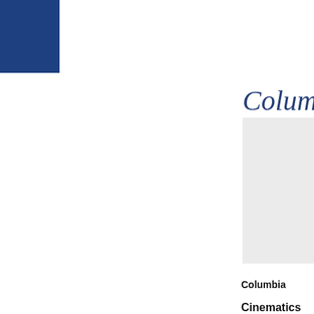[Figure (logo): Columbia University logo/wordmark in italic serif font, dark blue color, partially cropped on right edge]
Columbia
Cinematics
Dear Yalies
How many d... two and the... 15 you will h... a talk she w...